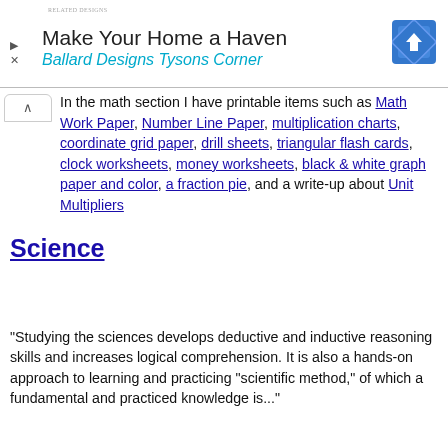[Figure (screenshot): Advertisement banner: 'Make Your Home a Haven / Ballard Designs Tysons Corner' with a blue diamond road sign icon and small logo text]
In the math section I have printable items such as Math Work Paper, Number Line Paper, multiplication charts, coordinate grid paper, drill sheets, triangular flash cards, clock worksheets, money worksheets, black & white graph paper and color, a fraction pie, and a write-up about Unit Multipliers
Science
"Studying the sciences develops deductive and inductive reasoning skills and increases logical comprehension. It is also a hands-on approach to learning and practicing "scientific method," of which a fundamental and practiced knowledge is..."